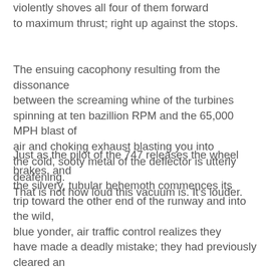violently shoves all four of them forward to maximum thrust; right up against the stops.
The ensuing cacophony resulting from the dissonance between the screaming whine of the turbines spinning at ten bazillion RPM and the 65,000 MPH blast of air and choking exhaust blasting you into the cold, sooty metal of the deflector is utterly deafening. That is not how loud this vacuum is. It's louder.
Just as the pilot of the 747 releases the wheel brakes, and the silvery, tubular behemoth commences its trip toward the other end of the runway and into the wild, blue yonder, air traffic control realizes they have made a deadly mistake; they had previously cleared an Airbus A380, the largest plane in the world, to land on the same runway, in the opposite direction! Frantically, they radio the two planes in a vain attempt to prevent the impending disaster, but to no avail. The planes meet nose-to-nose in a gut wrenching, mind-numbing collision. Add that noise to the already earsplitting din that was being